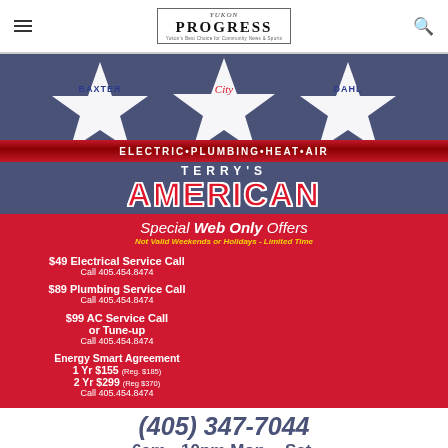Yukon Progress
[Figure (illustration): Terry's American advertisement with blue background featuring three white stars labeled BAXTER, City, and DAHL. Red ribbon banner with ELECTRIC·PLUMBING·HEAT·AIR. Blue section with TERRY'S AMERICAN text. Red section with Special Web Only Offers, Not Valid Weekends or Holidays - Limited Time, and four service offer boxes: $49 Electrical Service Call, $89 Plumbing Service Call, $99 AC Service Call or Tune-up, Energy Smart Agreement 1 Yr $155 (Reg. $185) 2 Yr $299 (Reg $370). Phone (405) 347-7044, hours 6am-10pm Mon.-Sat., 8200 Glade Ave, Oklahoma City, OK.]
Advertisement